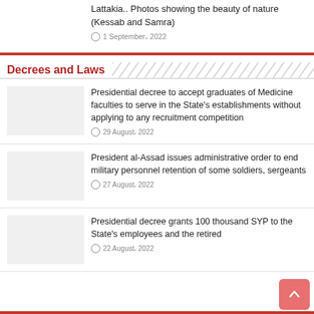Lattakia.. Photos showing the beauty of nature (Kessab and Samra)
1 September، 2022
Decrees and Laws
Presidential decree to accept graduates of Medicine faculties to serve in the State's establishments without applying to any recruitment competition
29 August، 2022
President al-Assad issues administrative order to end military personnel retention of some soldiers, sergeants
27 August، 2022
Presidential decree grants 100 thousand SYP to the State's employees and the retired
22 August، 2022